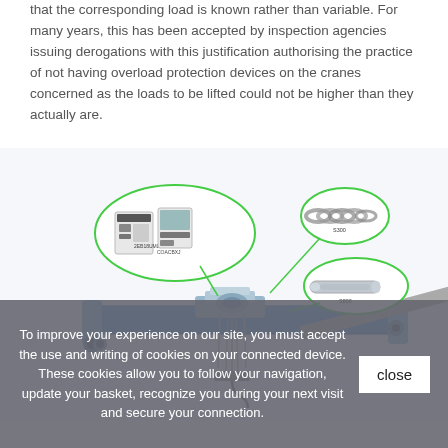that the corresponding load is known rather than variable. For many years, this has been accepted by inspection agencies issuing derogations with this justification authorising the practice of not having overload protection devices on the cranes concerned as the loads to be lifted could not be higher than they actually are.
[Figure (engineering-diagram): Illustrated diagram of an overhead/bridge crane with callout bubbles highlighting components: a control panel unit labeled '2EB18UMD' and 'COACBXJ', a chain component labeled 'S300', and a rod/pin component labeled 'S800'. The crane is shown in blue with mechanical details.]
To improve your experience on our site, you must accept the use and writing of cookies on your connected device. These cookies allow you to follow your navigation, update your basket, recognize you during your next visit and secure your connection.